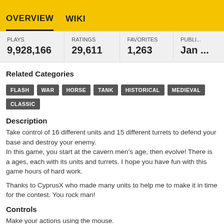OVERVIEW   WIKI
| PLAYS | RATINGS | FAVORITES | PUBLI... |
| --- | --- | --- | --- |
| 9,928,166 | 29,611 | 1,263 | Jan ... |
Related Categories
FLASH
WAR
HORSE
TANK
HISTORICAL
MEDIEVAL
CLASSIC
Description
Take control of 16 different units and 15 different turrets to defend your base and destroy your enemy.
In this game, you start at the cavern men's age, then evolve! There is a ages, each with its units and turrets. I hope you have fun with this game hours of hard work.
Thanks to CyprusX who made many units to help me to make it in time for the contest. You rock man!
Controls
Make your actions using the mouse.